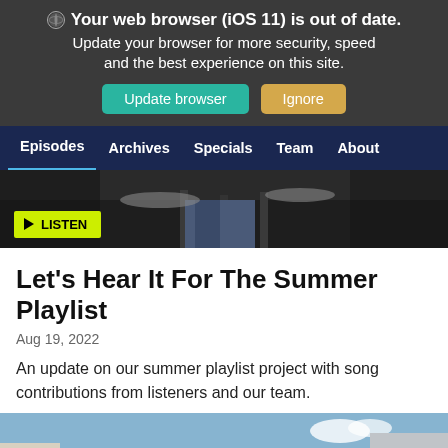🌐 Your web browser (iOS 11) is out of date. Update your browser for more security, speed and the best experience on this site. Update browser Ignore
Episodes  Archives  Specials  Team  About
[Figure (photo): Background photo of a drum kit with LISTEN button overlay in yellow-green]
Let's Hear It For The Summer Playlist
Aug 19, 2022
An update on our summer playlist project with song contributions from listeners and our team.
[Figure (photo): Outdoor photo showing a vehicle or bus with blue stripe and buildings/trees in background under blue sky]